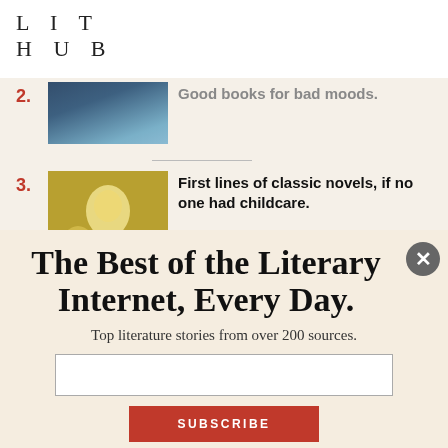LIT HUB
Good books for bad moods.
First lines of classic novels, if no one had childcare.
Visiting Mariah Carey's Cat's Grave: Reflections on...
The Best of the Literary Internet, Every Day.
Top literature stories from over 200 sources.
SUBSCRIBE